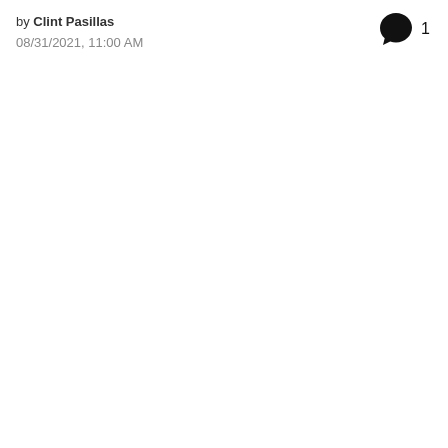by Clint Pasillas
08/31/2021, 11:00 AM
[Figure (other): Speech bubble comment icon with the number 1 next to it, positioned in the top right area of the page.]